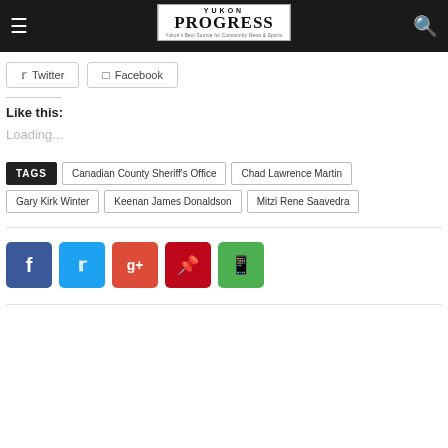Yukon Progress — navigation header with logo, hamburger menu, and search icon
Twitter  Facebook (share buttons)
Like this:
Loading...
TAGS  Canadian County Sheriff's Office  Chad Lawrence Martin  Gary Kirk Winter  Keenan James Donaldson  Mitzi Rene Saavedra
Social share icons: Facebook, Twitter, Google+, Pinterest, WhatsApp